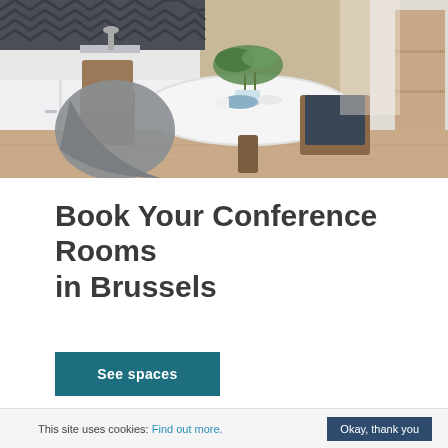[Figure (photo): Interior photo of a modern dining area with a round white marble table, wooden chairs with dark leather seats, a grey draped fabric on one chair, white kitchen cabinets, a dark chevron-patterned backsplash, and a plant centerpiece.]
Book Your Conference Rooms in Brussels
See spaces
This site uses cookies: Find out more. Okay, thank you